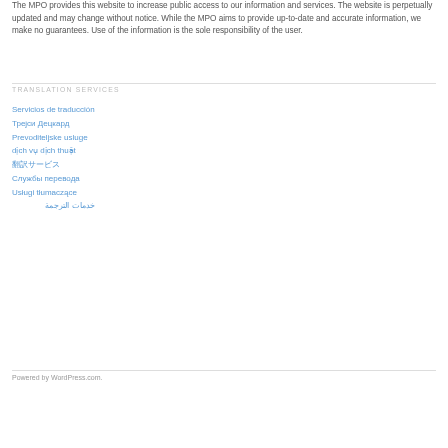The MPO provides this website to increase public access to our information and services. The website is perpetually updated and may change without notice. While the MPO aims to provide up-to-date and accurate information, we make no guarantees. Use of the information is the sole responsibility of the user.
TRANSLATION SERVICES
Servicios de traducción
Трејси Децкард
Prevoditeljske usluge
dịch vụ dịch thuật
翻訳サービス
Службы перевода
Usługi tłumaczące
خدمات الترجمة
Powered by WordPress.com.